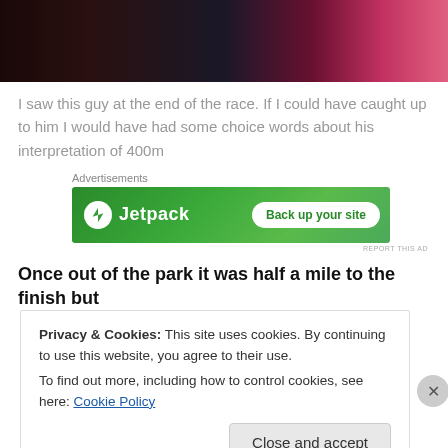[Figure (photo): Partial photo showing people, dark background with pink/magenta tones visible at bottom]
I saw this guy at the end of the race. If I could have caught up to him I would have had some choice words about his interpretation of 400m
Advertisements
[Figure (other): Jetpack advertisement banner with green background showing 'Back up your site' button]
REPORT THIS AD
Once out of the park it was half a mile to the finish but
Privacy & Cookies: This site uses cookies. By continuing to use this website, you agree to their use.
To find out more, including how to control cookies, see here: Cookie Policy

Close and accept